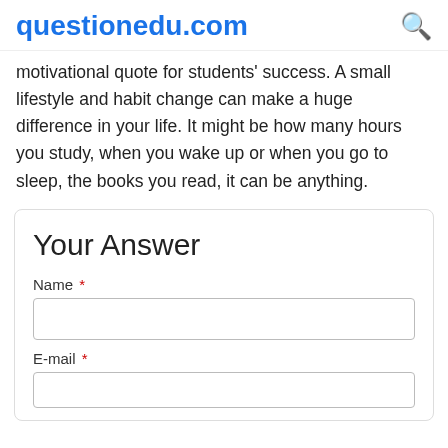questionedu.com
motivational quote for students' success. A small lifestyle and habit change can make a huge difference in your life. It might be how many hours you study, when you wake up or when you go to sleep, the books you read, it can be anything.
Your Answer
Name *
E-mail *